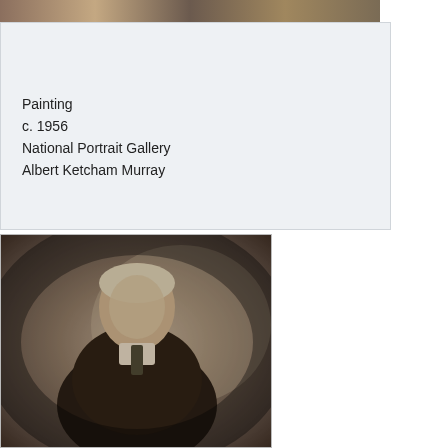[Figure (photo): Top strip showing partial view of a painting — cropped image strip at top of page]
Thomas J. Watson
Painting
c. 1956
National Portrait Gallery
Albert Ketcham Murray
[Figure (photo): Black and white sepia-toned portrait photograph of an elderly man in a dark suit, standing with hands at sides, looking toward camera]